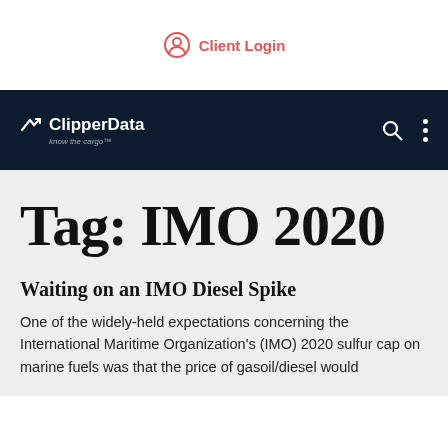Client Login
[Figure (logo): ClipperData logo with tagline 'know the cargo' on dark navy navigation bar, with search and menu icons]
Tag: IMO 2020
Waiting on an IMO Diesel Spike
One of the widely-held expectations concerning the International Maritime Organization's (IMO) 2020 sulfur cap on marine fuels was that the price of gasoil/diesel would